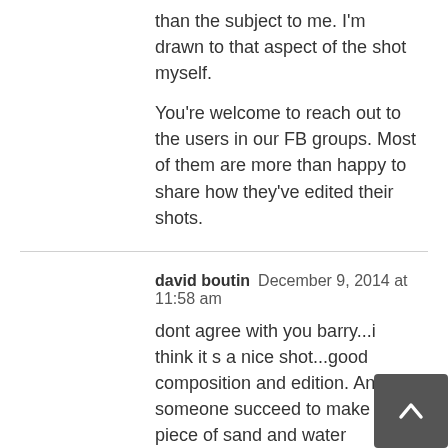than the subject to me. I'm drawn to that aspect of the shot myself.
You're welcome to reach out to the users in our FB groups. Most of them are more than happy to share how they've edited their shots.
david boutin   December 9, 2014 at 11:58 am

dont agree with you barry...i think it s a nice shot...good composition and edition. And if someone succeed to make a piece of sand and water interesting to watch... it clearly more than a snapshot ;)
ryan   December 9, 2014 at 10:09 pm

Jimmy and David, thanks, and Barry I think you are right in that there isn't